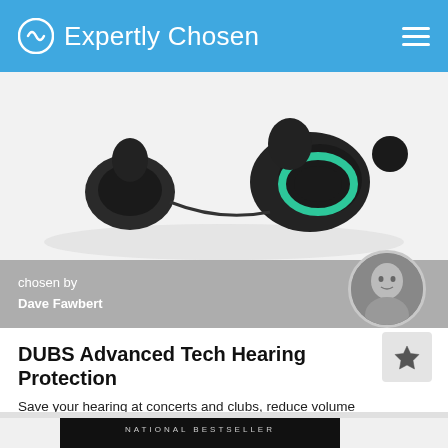Expertly Chosen
[Figure (photo): Product photo of DUBS earbuds/hearing protection on a white/light grey background, showing black earbuds with teal/green accents]
chosen by
Dave Fawbert
[Figure (photo): Circular avatar photo of Dave Fawbert, a man, black and white portrait]
DUBS Advanced Tech Hearing Protection
Save your hearing at concerts and clubs, reduce volume without losing sound clarity.
[Figure (photo): Book cover: National Bestseller - showing a man with headphones and glasses, eyes closed, black background]